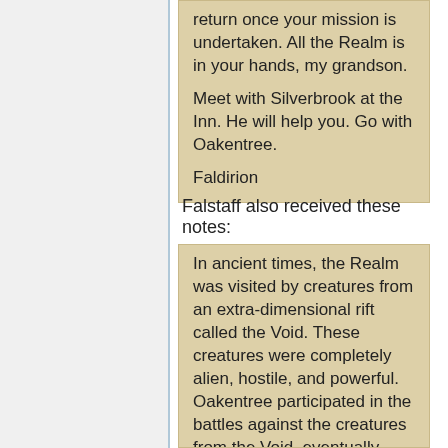return once your mission is undertaken. All the Realm is in your hands, my grandson.
Meet with Silverbrook at the Inn. He will help you. Go with Oakentree.
Faldirion
Falstaff also received these notes:
In ancient times, the Realm was visited by creatures from an extra-dimensional rift called the Void. These creatures were completely alien, hostile, and powerful. Oakentree participated in the battles against the creatures from the Void, eventually blocking the gate to the Void. Oakentree has sensed that a new gate might be forming. You are to gather information about the Void, if possible